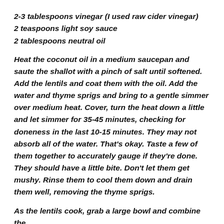2-3 tablespoons vinegar (I used raw cider vinegar)
2 teaspoons light soy sauce
2 tablespoons neutral oil
Heat the coconut oil in a medium saucepan and saute the shallot with a pinch of salt until softened. Add the lentils and coat them with the oil. Add the water and thyme sprigs and bring to a gentle simmer over medium heat. Cover, turn the heat down a little and let simmer for 35-45 minutes, checking for doneness in the last 10-15 minutes. They may not absorb all of the water. That’s okay. Taste a few of them together to accurately gauge if they’re done. They should have a little bite. Don’t let them get mushy. Rinse them to cool them down and drain them well, removing the thyme sprigs.
As the lentils cook, grab a large bowl and combine the